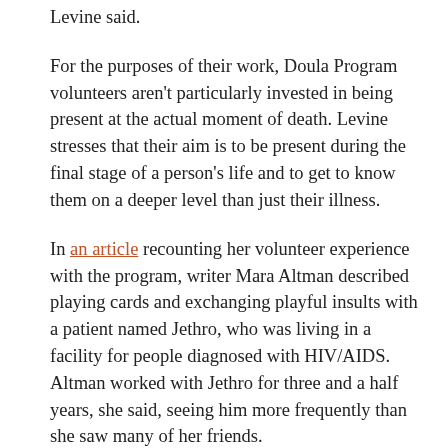Levine said.
For the purposes of their work, Doula Program volunteers aren't particularly invested in being present at the actual moment of death. Levine stresses that their aim is to be present during the final stage of a person's life and to get to know them on a deeper level than just their illness.
In an article recounting her volunteer experience with the program, writer Mara Altman described playing cards and exchanging playful insults with a patient named Jethro, who was living in a facility for people diagnosed with HIV/AIDS. Altman worked with Jethro for three and a half years, she said, seeing him more frequently than she saw many of her friends.
Altman writes: